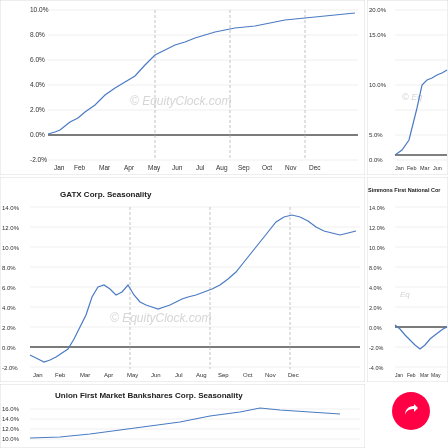[Figure (continuous-plot): Seasonality line chart (top-left, partially visible), y-axis 0% to ~10%, x-axis Jan through Dec, blue line trending upward with EquityClock.com watermark]
[Figure (continuous-plot): Seasonality line chart (top-right, partially visible), y-axis 0% to ~20%, x-axis Jan through Jun visible, blue line with EquityClock.com watermark]
[Figure (continuous-plot): GATX Corp. Seasonality chart, y-axis -4% to 14%, x-axis Jan through Dec, blue line starting negative, rising mid-year, surging late year to ~11%, EquityClock.com watermark]
[Figure (continuous-plot): Simmons First National Corp seasonality chart (partially visible, right side), y-axis -8% to 14%, x-axis Jan through Jun, blue line mostly negative Jan-May, EquityClock.com watermark]
[Figure (continuous-plot): Union First Market Bankshares Corp. Seasonality chart (bottom-left), y-axis 6% to ~16%, x-axis partially visible, blue line rising sharply from mid-year]